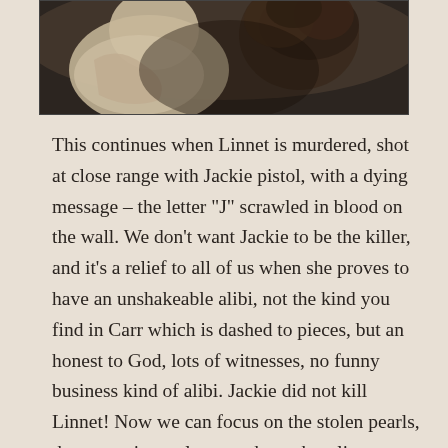[Figure (photo): A close-up photograph of two people, one with curly dark hair and one in light clothing, facing each other or in close proximity.]
This continues when Linnet is murdered, shot at close range with Jackie pistol, with a dying message – the letter "J" scrawled in blood on the wall. We don't want Jackie to be the killer, and it's a relief to all of us when she proves to have an unshakeable alibi, not the kind you find in Carr which is dashed to pieces, but an honest to God, lots of witnesses, no funny business kind of alibi. Jackie did not kill Linnet! Now we can focus on the stolen pearls, the mysterious telegram, the embezzling lawyer, the Communist who loathes rich heiresses, and the rest of the passenger list. While Poirot investigates, we hope that now maybe Jacquie can recover from her temporary sanity, and that she and Simon might even find their way back to each other. They were a sweet